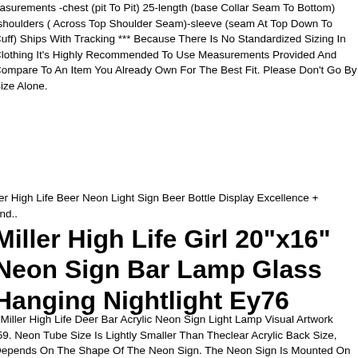easurements -chest (pit To Pit) 25-length (base Collar Seam To Bottom) -shoulders ( Across Top Shoulder Seam)-sleeve (seam At Top Down To Cuff) Ships With Tracking *** Because There Is No Standardized Sizing In Clothing It's Highly Recommended To Use Measurements Provided And Compare To An Item You Already Own For The Best Fit. Please Don't Go By Size Alone.
ller High Life Beer Neon Light Sign Beer Bottle Display Excellence + ond..
Miller High Life Girl 20"x16" Neon Sign Bar Lamp Glass Hanging Nightlight Ey76
" Miller High Life Deer Bar Acrylic Neon Sign Light Lamp Visual Artwork .59. Neon Tube Size Is Lightly Smaller Than Theclear Acrylic Back Size, Depends On The Shape Of The Neon Sign. The Neon Sign Is Mounted On Theclear Acrylic Back And Could Stand Or Hang On The Wall. The Color O